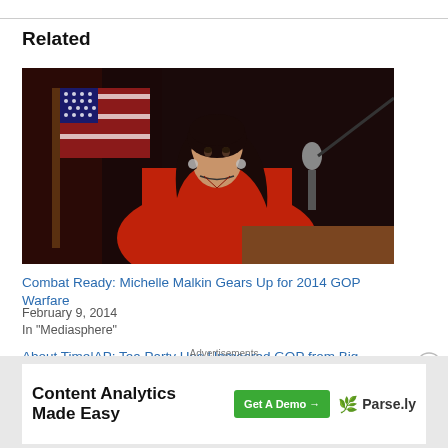Related
[Figure (photo): Woman in red dress speaking at a podium with microphone, American flag in background, dark background]
Combat Ready: Michelle Malkin Gears Up for 2014 GOP Warfare
February 9, 2014
In "Mediasphere"
About Time|AP: Tea Party Has Unmoored GOP from Big Business
Advertisements
[Figure (screenshot): Advertisement banner: Content Analytics Made Easy - Get A Demo button - Parse.ly logo]